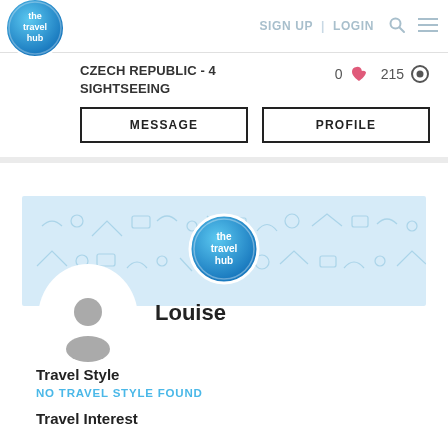the travel hub | SIGN UP | LOGIN
CZECH REPUBLIC - 4 SIGHTSEEING
0 ❤ 215 👁
MESSAGE
PROFILE
[Figure (logo): The Travel Hub logo - blue circular badge with white text 'the travel hub']
Louise
Travel Style
NO TRAVEL STYLE FOUND
Travel Interest